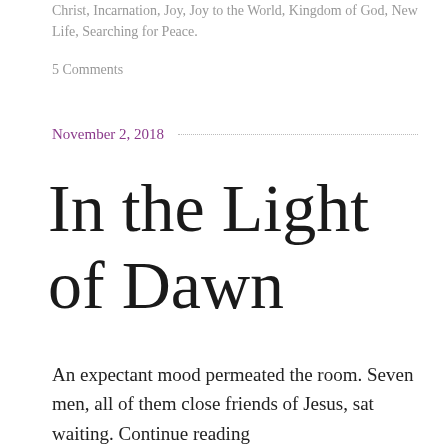Christ, Incarnation, Joy, Joy to the World, Kingdom of God, New Life, Searching for Peace.
5 Comments
November 2, 2018
In the Light of Dawn
An expectant mood permeated the room. Seven men, all of them close friends of Jesus, sat waiting. Continue reading